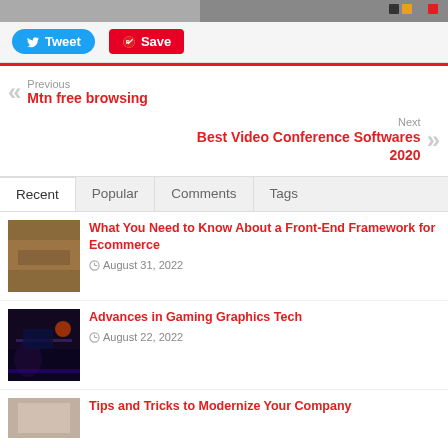[Figure (screenshot): Top strip with partial image and social share buttons (Tweet and Save)]
Tweet
Save
Previous
Mtn free browsing
Next
Best Video Conference Softwares 2020
Recent | Popular | Comments | Tags
[Figure (photo): Thumbnail of person typing on keyboard for front-end framework article]
What You Need to Know About a Front-End Framework for Ecommerce
August 31, 2022
[Figure (photo): Thumbnail of gaming chair with RGB lighting]
Advances in Gaming Graphics Tech
August 22, 2022
[Figure (photo): Thumbnail for Tips and Tricks article]
Tips and Tricks to Modernize Your Company